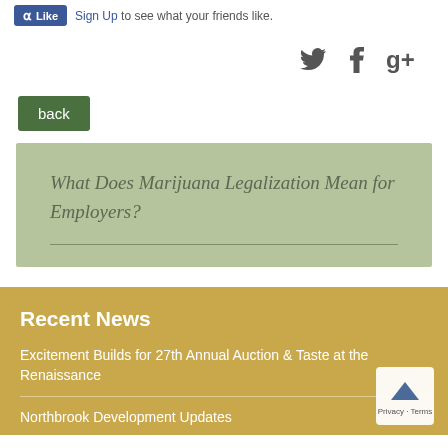Like  Sign Up to see what your friends like.
[Figure (other): Social sharing icons: Twitter bird, Facebook f, Google+ g+]
back
What Does Marijuana Legalization Mean for Employers?
Recent News
Excitement Builds for 27th Annual Auction & Taste at the Renaissance
Northbrook Development Updates